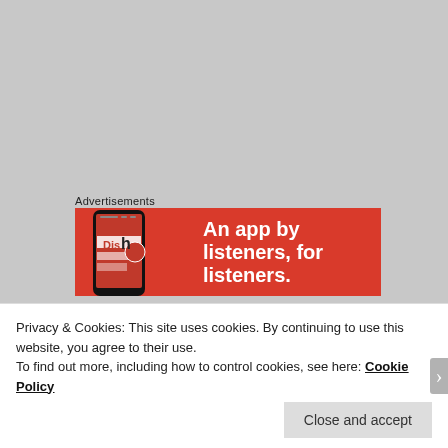Advertisements
[Figure (screenshot): Red advertisement banner reading 'An app by listeners, for listeners.' with a phone showing 'Dish' app on the left]
TOBY
January 14, 2017 at 6:41 pm
Privacy & Cookies: This site uses cookies. By continuing to use this website, you agree to their use.
To find out more, including how to control cookies, see here: Cookie Policy